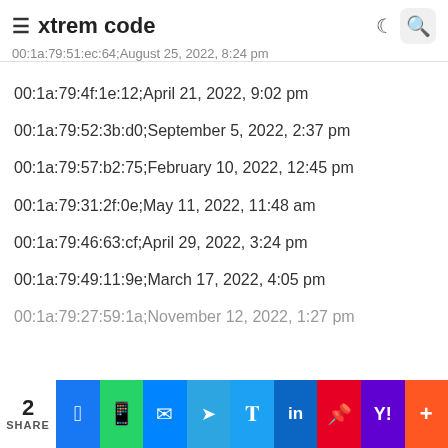xtrem code
00:1a:79:51:ec:64;August 25, 2022, 8:24 pm
00:1a:79:4f:1e:12;April 21, 2022, 9:02 pm
00:1a:79:52:3b:d0;September 5, 2022, 2:37 pm
00:1a:79:57:b2:75;February 10, 2022, 12:45 pm
00:1a:79:31:2f:0e;May 11, 2022, 11:48 am
00:1a:79:46:63:cf;April 29, 2022, 3:24 pm
00:1a:79:49:11:9e;March 17, 2022, 4:05 pm
00:1a:79:27:59:1a;November 12, 2022, 1:27 pm
2 SHARE | Facebook | WhatsApp | Messenger | Telegram | Twitter | LinkedIn | Pinterest | Yahoo | More